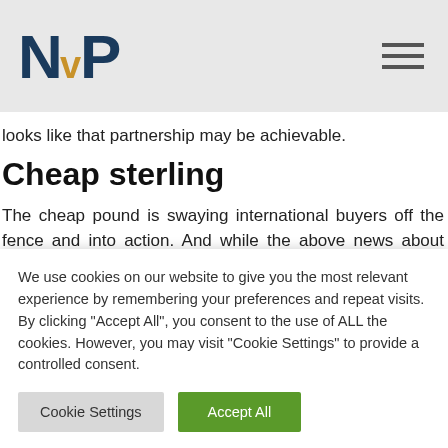NVP [logo] | hamburger menu
looks like that partnership may be achievable.
Cheap sterling
The cheap pound is swaying international buyers off the fence and into action. And while the above news about Brexit should see sterling recover to its true value (that’s providing Bitcoin doesn’t take over the world), you
We use cookies on our website to give you the most relevant experience by remembering your preferences and repeat visits. By clicking “Accept All”, you consent to the use of ALL the cookies. However, you may visit “Cookie Settings” to provide a controlled consent.